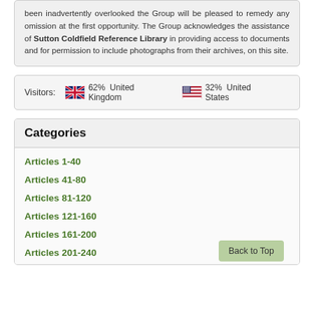been inadvertently overlooked the Group will be pleased to remedy any omission at the first opportunity. The Group acknowledges the assistance of Sutton Coldfield Reference Library in providing access to documents and for permission to include photographs from their archives, on this site.
Visitors: 62% United Kingdom  32% United States
Categories
Articles 1-40
Articles 41-80
Articles 81-120
Articles 121-160
Articles 161-200
Articles 201-240